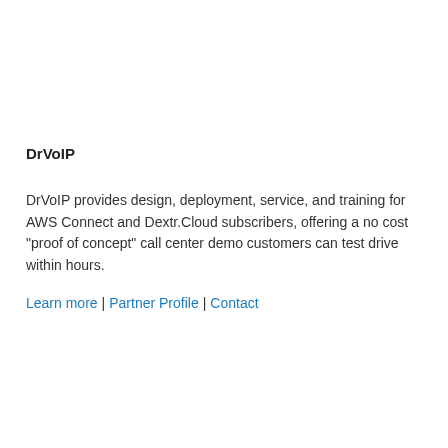DrVoIP
DrVoIP provides design, deployment, service, and training for AWS Connect and Dextr.Cloud subscribers, offering a no cost "proof of concept" call center demo customers can test drive within hours.
Learn more | Partner Profile | Contact